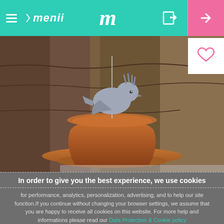[Figure (screenshot): Menii app header bar with teal background, hamburger menu icon and 'menii' logo on left, large italic 'm' in center, door/exit icon and pink share button on right]
[Figure (photo): A grey ceramic bird figurine perched on top of a terracotta flower pot, with a tree bark background. A heart icon is visible in the top right corner.]
In order to give you the best experience, we use cookies
for performance, analytics, personalization, advertising, and to help our site function.If you continue without changing your browser settings, we assume that you are happy to receive all cookies on this website. For more help and informations please read our Data Protection & Cookie policy
Accept & close